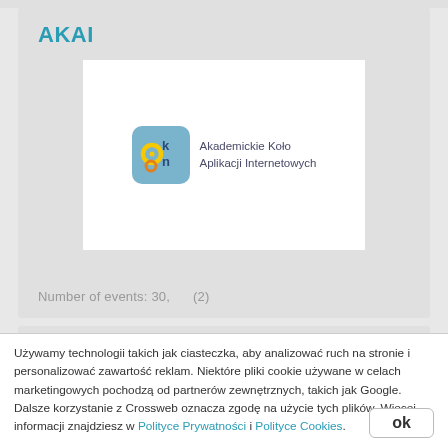AKAI
[Figure (logo): AKAI logo: blue-gray rounded square icon with stylized 'ak' letters, next to text 'Akademickie Koło Aplikacji Internetowych']
Number of events: 30,  (2)
Agile4U
Używamy technologii takich jak ciasteczka, aby analizować ruch na stronie i personalizować zawartość reklam. Niektóre pliki cookie używane w celach marketingowych pochodzą od partnerów zewnętrznych, takich jak Google. Dalsze korzystanie z Crossweb oznacza zgodę na użycie tych plików. Więcej informacji znajdziesz w Polityce Prywatności i Polityce Cookies.